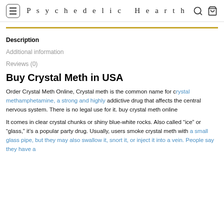Psychedelic Hearth
Description
Additional information
Reviews (0)
Buy Crystal Meth in USA
Order Crystal Meth Online, Crystal meth is the common name for crystal methamphetamine, a strong and highly addictive drug that affects the central nervous system. There is no legal use for it. buy crystal meth online
It comes in clear crystal chunks or shiny blue-white rocks. Also called “ice” or “glass,” it’s a popular party drug. Usually, users smoke crystal meth with a small glass pipe, but they may also swallow it, snort it, or inject it into a vein. People say they have a